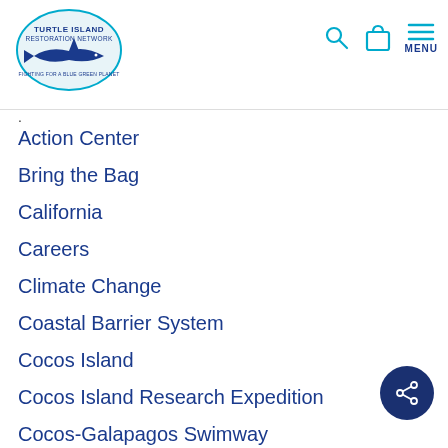[Figure (logo): Turtle Island Restoration Network logo — oval shape with blue shark silhouette and text 'FIGHTING FOR A BLUE GREEN PLANET']
Action Center
Bring the Bag
California
Careers
Climate Change
Coastal Barrier System
Cocos Island
Cocos Island Research Expedition
Cocos-Galapagos Swimway
Coho Salmon
COMMENT